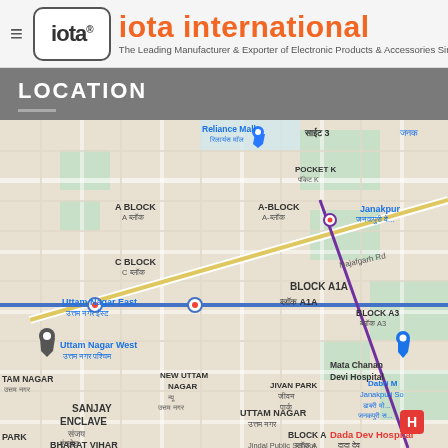iota international — The Leading Manufacturer & Exporter of Electronic Products & Accessories Since 1996
LOCATION
[Figure (map): Google Maps view of Uttam Nagar / Janakpuri area in New Delhi, India, showing Uttam Nagar East, Uttam Nagar West, Block A1A, Pocket K, Reliance Mall, Mata Chanan Devi Hospital, Dada Dev Hospital, Sanjay Enclave, BHARAT VIHAR, Najafgarh Rd, with metro/route lines overlaid.]